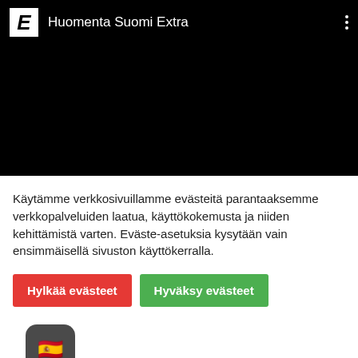[Figure (screenshot): Black video player screen with white E logo and title 'Huomenta Suomi Extra' in header bar, three-dot menu icon on right]
Käytämme verkkosivuillamme evästeitä parantaaksemme verkkopalveluiden laatua, käyttökokemusta ja niiden kehittämistä varten. Eväste-asetuksia kysytään vain ensimmäisellä sivuston käyttökerralla.
Hylkää evästeet
Hyväksy evästeet
[Figure (screenshot): App icon with dark rounded rectangle background showing Spanish flag emoji]